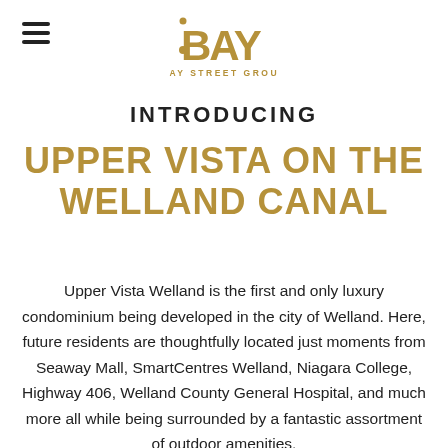[Figure (logo): BAY STREET GROUP logo in gold/tan color with stylized BAY text and dot]
INTRODUCING
UPPER VISTA ON THE WELLAND CANAL
Upper Vista Welland is the first and only luxury condominium being developed in the city of Welland. Here, future residents are thoughtfully located just moments from Seaway Mall, SmartCentres Welland, Niagara College, Highway 406, Welland County General Hospital, and much more all while being surrounded by a fantastic assortment of outdoor amenities.